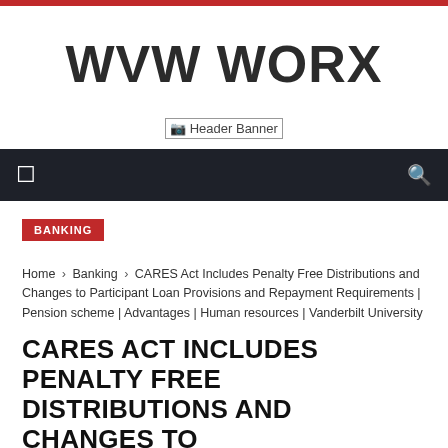WVW WORX
[Figure (other): Header Banner image placeholder]
BANKING
Home › Banking › CARES Act Includes Penalty Free Distributions and Changes to Participant Loan Provisions and Repayment Requirements | Pension scheme | Advantages | Human resources | Vanderbilt University
CARES ACT INCLUDES PENALTY FREE DISTRIBUTIONS AND CHANGES TO